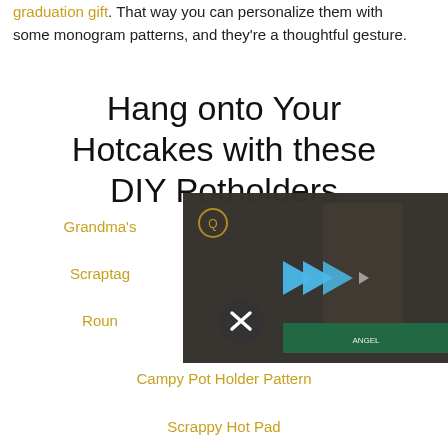graduation gift. That way you can personalize them with some monogram patterns, and they're a thoughtful gesture.
Hang onto Your Hotcakes with these DIY Potholders
[Figure (screenshot): Video player overlay showing a woman in front of a bookshelf with colorful decorations, a media player logo (blue triangular play arrows) and a mute button icon visible]
Grandma's
Scraptag
Roun
Campy Pot Holder Pattern
Scrappy Hot Pad